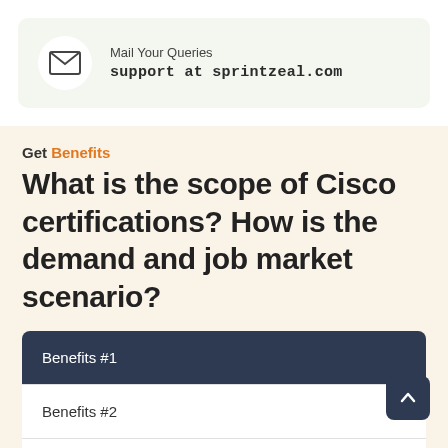[Figure (infographic): Mail icon inside a white circle on a light green background banner]
Mail Your Queries
support at sprintzeal.com
Get Benefits
What is the scope of Cisco certifications? How is the demand and job market scenario?
Benefits #1
Benefits #2
Benefits #3